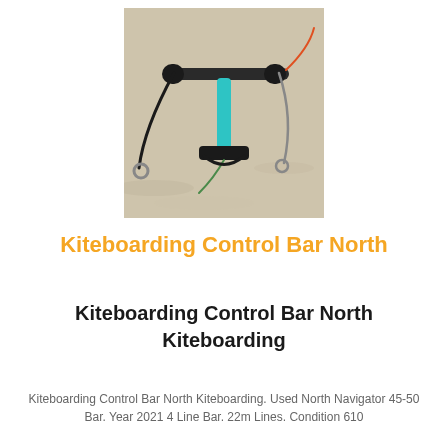[Figure (photo): A kiteboarding control bar lying on sandy beach. The bar is dark/black with a teal center section, with lines and connectors attached.]
Kiteboarding Control Bar North
Kiteboarding Control Bar North Kiteboarding
Kiteboarding Control Bar North Kiteboarding. Used North Navigator 45-50 Bar. Year 2021 4 Line Bar. 22m Lines. Condition 610